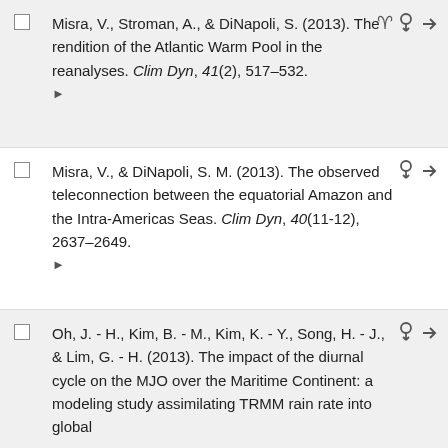Misra, V., Stroman, A., & DiNapoli, S. (2013). The rendition of the Atlantic Warm Pool in the reanalyses. Clim Dyn, 41(2), 517–532.
Misra, V., & DiNapoli, S. M. (2013). The observed teleconnection between the equatorial Amazon and the Intra-Americas Seas. Clim Dyn, 40(11-12), 2637–2649.
Oh, J. - H., Kim, B. - M., Kim, K. - Y., Song, H. - J., & Lim, G. - H. (2013). The impact of the diurnal cycle on the MJO over the Maritime Continent: a modeling study assimilating TRMM rain rate into global